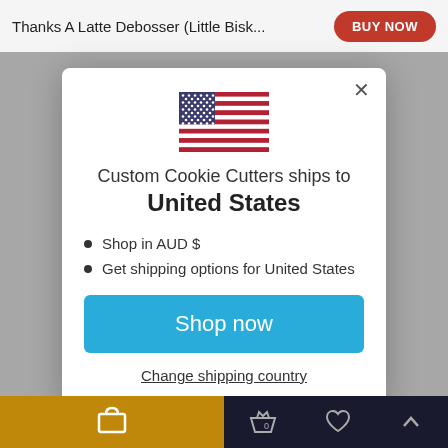Thanks A Latte Debosser (Little Bisk...
[Figure (screenshot): US flag emoji in modal dialog]
Custom Cookie Cutters ships to United States
Shop in AUD $
Get shipping options for United States
Shop now
Change shipping country
Bottom navigation bar with cart, basket, heart, and up-arrow icons